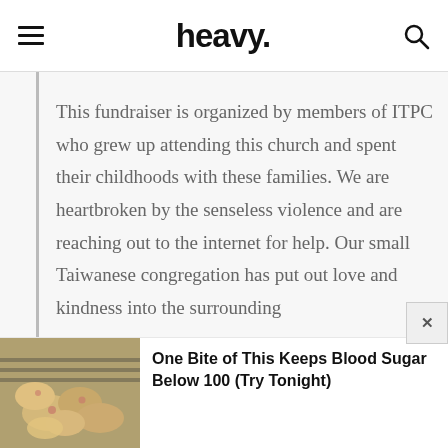heavy.
This fundraiser is organized by members of ITPC who grew up attending this church and spent their childhoods with these families. We are heartbroken by the senseless violence and are reaching out to the internet for help. Our small Taiwanese congregation has put out love and kindness into the surrounding
One Bite of This Keeps Blood Sugar Below 100 (Try Tonight)